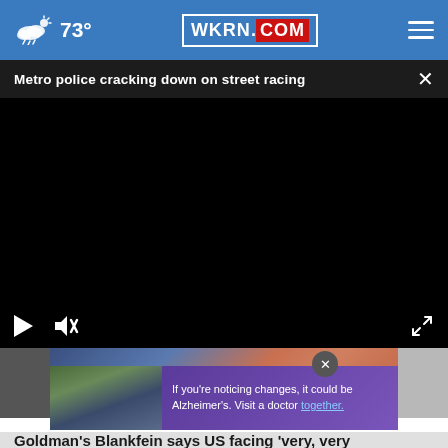73° WKRN.COM
Metro police cracking down on street racing ×
[Figure (screenshot): Black video player area with play button, mute icon, and fullscreen expand icon on dark controls bar]
[Figure (photo): Partial view of a person's face and torso below video area, with advertisement overlay showing two men and purple Alzheimer's awareness ad]
If you're noticing changes, it could be Alzheimer's. Visit a doctor together.
Goldman's Blankfein says US facing 'very, very